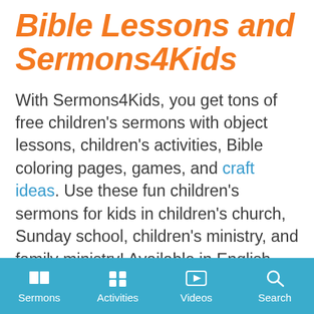Bible Lessons and Sermons4Kids
With Sermons4Kids, you get tons of free children's sermons with object lessons, children's activities, Bible coloring pages, games, and craft ideas. Use these fun children's sermons for kids in children's church, Sunday school, children's ministry, and family ministry! Available in English and Spanish!
Do even more with Sermons4Kids Plus!
Sermons   Activities   Videos   Search